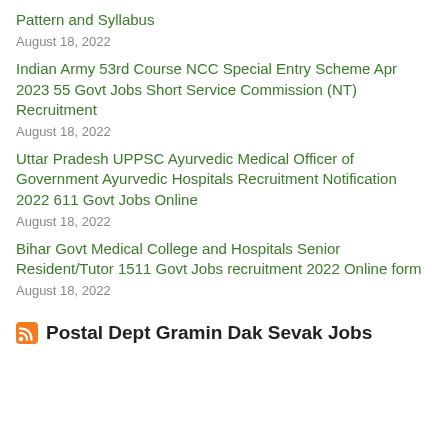Pattern and Syllabus
August 18, 2022
Indian Army 53rd Course NCC Special Entry Scheme Apr 2023 55 Govt Jobs Short Service Commission (NT) Recruitment
August 18, 2022
Uttar Pradesh UPPSC Ayurvedic Medical Officer of Government Ayurvedic Hospitals Recruitment Notification 2022 611 Govt Jobs Online
August 18, 2022
Bihar Govt Medical College and Hospitals Senior Resident/Tutor 1511 Govt Jobs recruitment 2022 Online form
August 18, 2022
Postal Dept Gramin Dak Sevak Jobs